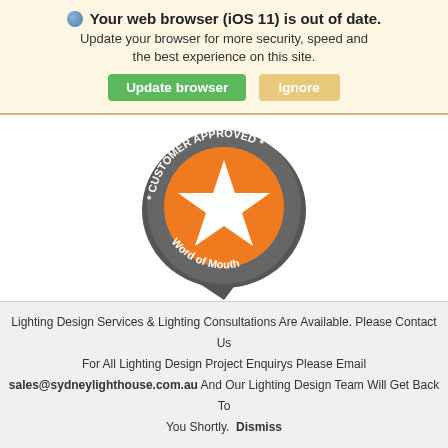Your web browser (iOS 11) is out of date. Update your browser for more security, speed and the best experience on this site.
[Figure (screenshot): Update browser and Ignore buttons]
[Figure (logo): Customer Approved Word of Mouth badge — circular dark grey badge with orange circle containing a white star, text reads CUSTOMER APPROVED and Word of Mouth]
[Figure (infographic): Social media icons row: Instagram (blue-grey), Facebook (dark blue), Pinterest (red), RSS (orange), Twitter (light blue)]
Lighting Design Services & Lighting Consultations Are Available. Please Contact Us

For All Lighting Design Project Enquirys Please Email

sales@sydneylighthouse.com.au And Our Lighting Design Team Will Get Back To You Shortly. Dismiss